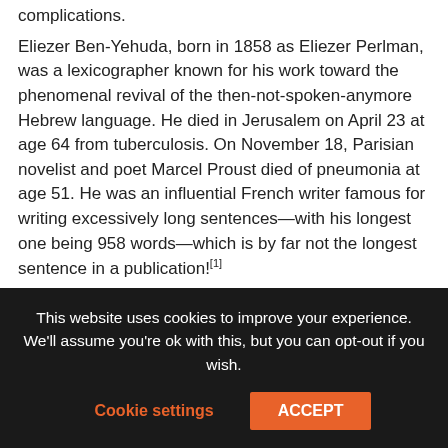complications.
Eliezer Ben-Yehuda, born in 1858 as Eliezer Perlman, was a lexicographer known for his work toward the phenomenal revival of the then-not-spoken-anymore Hebrew language. He died in Jerusalem on April 23 at age 64 from tuberculosis. On November 18, Parisian novelist and poet Marcel Proust died of pneumonia at age 51. He was an influential French writer famous for writing excessively long sentences—with his longest one being 958 words—which is by far not the longest sentence in a publication![1]
9 Births
This website uses cookies to improve your experience. We'll assume you're ok with this, but you can opt-out if you wish.
Cookie settings
ACCEPT